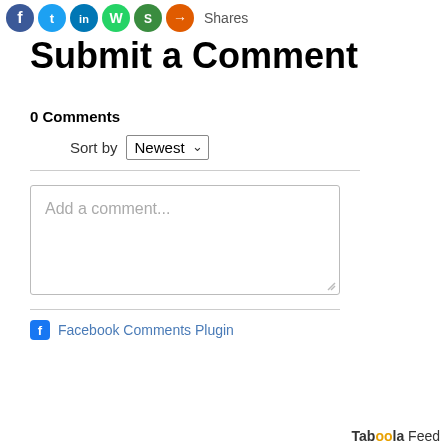[Figure (other): Row of social share icons (blue Facebook, light blue Twitter, dark blue LinkedIn, green WhatsApp, dark green another share, orange share) followed by 'Shares' label]
Submit a Comment
0 Comments
Sort by Newest
[Figure (other): Text input box with placeholder text 'Add a comment...' and a resize handle at bottom right]
Facebook Comments Plugin
Taboola Feed